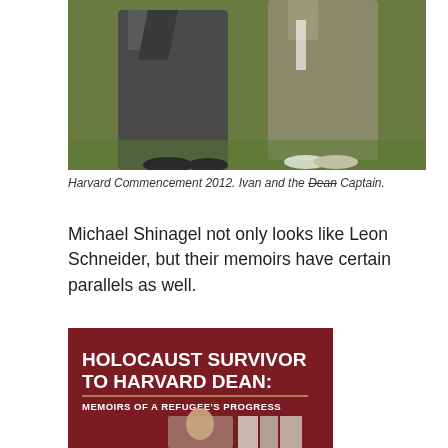[Figure (photo): Two men standing outdoors on grass at Harvard Commencement 2012, wearing suits, photographed from roughly waist level down.]
Harvard Commencement 2012. Ivan and the Dean Captain.
Michael Shinagel not only looks like Leon Schneider, but their memoirs have certain parallels as well.
[Figure (photo): Book cover of 'Holocaust Survivor to Harvard Dean: Memoirs of a Refugee's Progress' showing a dark red background with the title in white bold text and a black-and-white photo of a young man.]